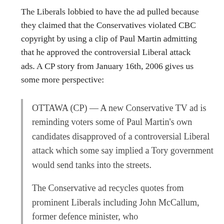The Liberals lobbied to have the ad pulled because they claimed that the Conservatives violated CBC copyright by using a clip of Paul Martin admitting that he approved the controversial Liberal attack ads. A CP story from January 16th, 2006 gives us some more perspective:
OTTAWA (CP) — A new Conservative TV ad is reminding voters some of Paul Martin's own candidates disapproved of a controversial Liberal attack which some say implied a Tory government would send tanks into the streets.
The Conservative ad recycles quotes from prominent Liberals including John McCallum, former defence minister, who